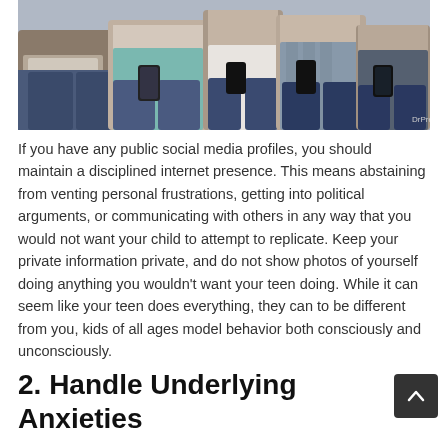[Figure (photo): Photo of several young people sitting together using smartphones and a laptop, viewed from waist down. Watermark 'DrPrem.com' visible in lower right.]
If you have any public social media profiles, you should maintain a disciplined internet presence. This means abstaining from venting personal frustrations, getting into political arguments, or communicating with others in any way that you would not want your child to attempt to replicate. Keep your private information private, and do not show photos of yourself doing anything you wouldn't want your teen doing. While it can seem like your teen does everything, they can to be different from you, kids of all ages model behavior both consciously and unconsciously.
2. Handle Underlying Anxieties